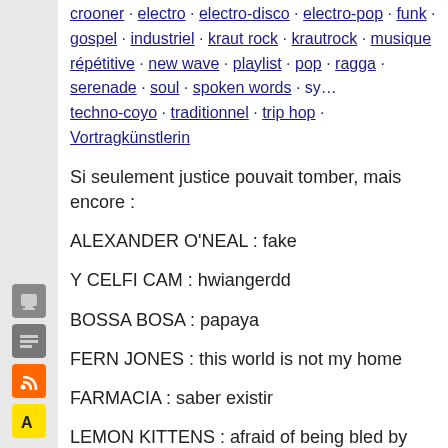crooner · electro · electro-disco · electro-pop · funk · gospel · industriel · kraut rock · krautrock · musique répétitive · new wave · playlist · pop · ragga · serenade · soul · spoken words · sy… techno-coyo · traditionnel · trip hop · Vortragkünstlerin
Si seulement justice pouvait tomber, mais encore :
ALEXANDER O'NEAL : fake
Y CELFI CAM : hwiangerdd
BOSSA BOSA : papaya
FERN JONES : this world is not my home
FARMACIA : saber existir
LEMON KITTENS : afraid of being bled by leeches
THIRD EAR BAND : Necromancy
MARIA LUX : happy
2RAUMWOHNUNG :nimm sie